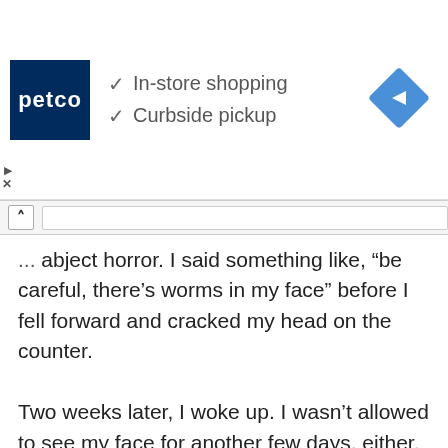[Figure (screenshot): Petco advertisement banner showing logo with 'In-store shopping' and 'Curbside pickup' checkmarks, and a blue diamond navigation icon on the right]
... abject horror. I said something like, “be careful, there’s worms in my face” before I fell forward and cracked my head on the counter.

Two weeks later, I woke up. I wasn’t allowed to see my face for another few days, either. I could tell I was really messed up but apparently I’d be fine aside from some pretty bad scars and a damaged eye. The doctors had no idea what kind of parasite was in me, but said they’ll be taking the rest of the acne cream to run tests on it. They said that while it